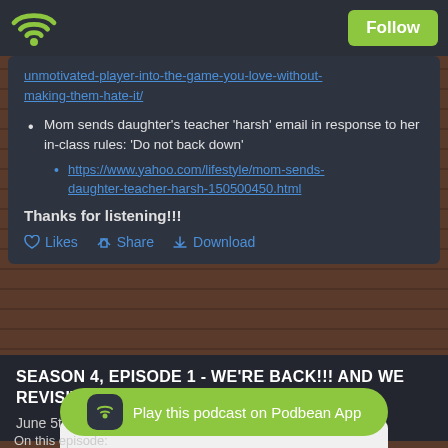[Figure (screenshot): Podbean podcast app interface showing episode listing and player]
unmotivated-player-into-the-game-you-love-without-making-them-hate-it/
Mom sends daughter's teacher 'harsh' email in response to her in-class rules: 'Do not back down'
https://www.yahoo.com/lifestyle/mom-sends-daughter-teacher-harsh-150500450.html
Thanks for listening!!!
Likes  Share  Download
SEASON 4, EPISODE 1 - WE'RE BACK!!! AND WE REVISIT YELLING
June 5th, 2022
Play this podcast on Podbean App
On this episode: